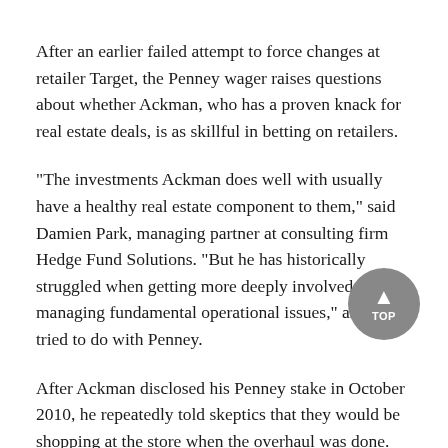After an earlier failed attempt to force changes at retailer Target, the Penney wager raises questions about whether Ackman, who has a proven knack for real estate deals, is as skillful in betting on retailers.
"The investments Ackman does well with usually have a healthy real estate component to them," said Damien Park, managing partner at consulting firm Hedge Fund Solutions. "But he has historically struggled when getting more deeply involved with managing fundamental operational issues," as he tried to do with Penney.
After Ackman disclosed his Penney stake in October 2010, he repeatedly told skeptics that they would be shopping at the store when the overhaul was done.
As a board member, Ackman coaxed Ron Johnson to leave Apple and run JC Penney in 2011, even calling him the Steve Jobs of the retail industry. But the makeover failed, new shoppers did not come, and the stock price tumbled to $12.68 on